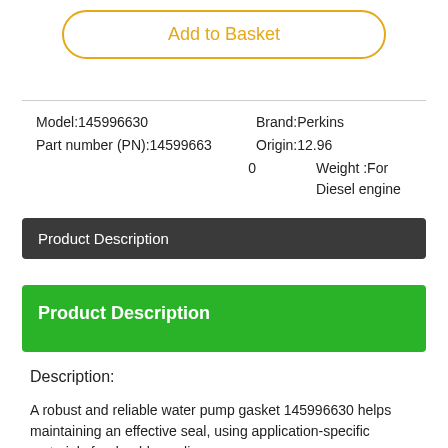Add to Basket
| Model:145996630 | Brand:Perkins |
| Part number (PN):145996630 | Origin:12.96 |
| 0 | Weight :For Diesel engine |
Product Description
Product Description
Description:
A robust and reliable water pump gasket 145996630 helps maintaining an effective seal, using application-specific materials for durable sealing